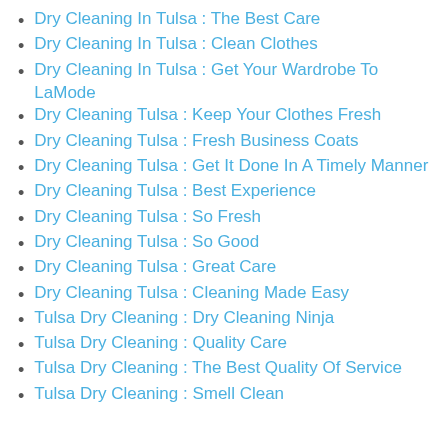Dry Cleaning In Tulsa : The Best Care
Dry Cleaning In Tulsa : Clean Clothes
Dry Cleaning In Tulsa : Get Your Wardrobe To LaMode
Dry Cleaning Tulsa : Keep Your Clothes Fresh
Dry Cleaning Tulsa : Fresh Business Coats
Dry Cleaning Tulsa : Get It Done In A Timely Manner
Dry Cleaning Tulsa : Best Experience
Dry Cleaning Tulsa : So Fresh
Dry Cleaning Tulsa : So Good
Dry Cleaning Tulsa : Great Care
Dry Cleaning Tulsa : Cleaning Made Easy
Tulsa Dry Cleaning : Dry Cleaning Ninja
Tulsa Dry Cleaning : Quality Care
Tulsa Dry Cleaning : The Best Quality Of Service
Tulsa Dry Cleaning : Smell Clean